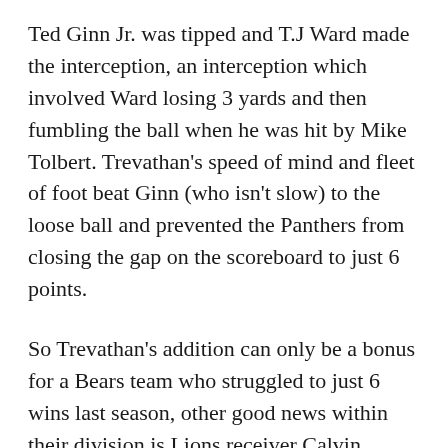Ted Ginn Jr. was tipped and T.J Ward made the interception, an interception which involved Ward losing 3 yards and then fumbling the ball when he was hit by Mike Tolbert. Trevathan's speed of mind and fleet of foot beat Ginn (who isn't slow) to the loose ball and prevented the Panthers from closing the gap on the scoreboard to just 6 points.
So Trevathan's addition can only be a bonus for a Bears team who struggled to just 6 wins last season, other good news within their division is Lions receiver Calvin Johnson retired aged just 30. However neither the Bears or Lions made the playoffs from the NFC North last season and with a resurgent Vikings team moving into the absolutely